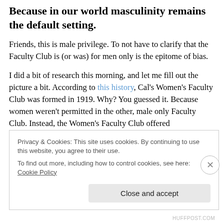Because in our world masculinity remains the default setting.
Friends, this is male privilege. To not have to clarify that the Faculty Club is (or was) for men only is the epitome of bias.
I did a bit of research this morning, and let me fill out the picture a bit. According to this history, Cal's Women's Faculty Club was formed in 1919. Why? You guessed it. Because women weren't permitted in the other, male only Faculty Club. Instead, the Women's Faculty Club offered
Privacy & Cookies: This site uses cookies. By continuing to use this website, you agree to their use.
To find out more, including how to control cookies, see here: Cookie Policy
Close and accept